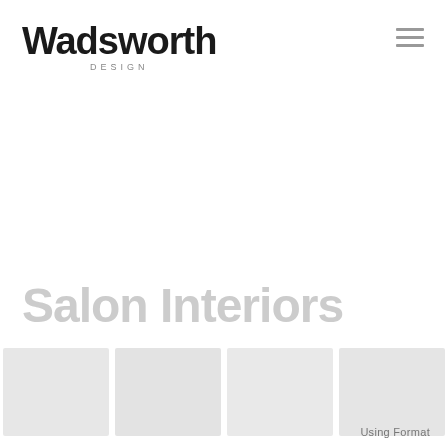Wadsworth DESIGN
[Figure (logo): Wadsworth Design logo with bold black wordmark and 'DESIGN' subtitle in spaced grey capitals, plus a hamburger menu icon in the top right corner]
Salon Interiors
[Figure (photo): Row of faint greyscale thumbnail images of salon interior photos at the bottom of the page]
Using Format